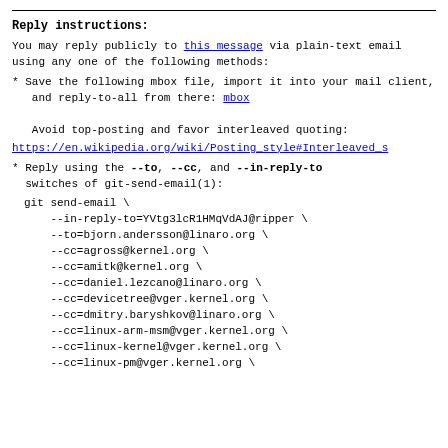Reply instructions:
You may reply publicly to this message via plain-text email
using any one of the following methods:
* Save the following mbox file, import it into your mail client,
   and reply-to-all from there: mbox

   Avoid top-posting and favor interleaved quoting:
https://en.wikipedia.org/wiki/Posting_style#Interleaved_s
* Reply using the --to, --cc, and --in-reply-to switches of git-send-email(1):
git send-email \
    --in-reply-to=YVtg3lcR1HMqVdAJ@ripper \
    --to=bjorn.andersson@linaro.org \
    --cc=agross@kernel.org \
    --cc=amitk@kernel.org \
    --cc=daniel.lezcano@linaro.org \
    --cc=devicetree@vger.kernel.org \
    --cc=dmitry.baryshkov@linaro.org \
    --cc=linux-arm-msm@vger.kernel.org \
    --cc=linux-kernel@vger.kernel.org \
    --cc=linux-pm@vger.kernel.org \